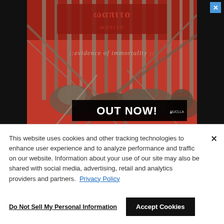[Figure (illustration): Album advertisement for heavy metal record 'Evidence of Immortality', featuring dark red and grey illustrated artwork with a band logo at the top, battle scene imagery (armor, weapons, skulls), text ':evidence of immortality:' in the middle, and 'OUT NOW!' banner with a label logo at the bottom. Black background surrounds the ad.]
This website uses cookies and other tracking technologies to enhance user experience and to analyze performance and traffic on our website. Information about your use of our site may also be shared with social media, advertising, retail and analytics providers and partners.  Privacy Policy
Do Not Sell My Personal Information
Accept Cookies